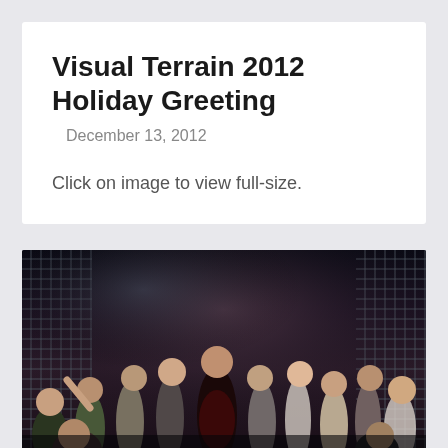Visual Terrain 2012 Holiday Greeting
December 13, 2012
Click on image to view full-size.
[Figure (photo): Theater stage scene with a large ensemble cast of Asian performers, center figure in a dark dress appearing to sing or call out dramatically, others reacting around her, metal lattice gates visible in background, stage lighting creating a dramatic atmosphere.]